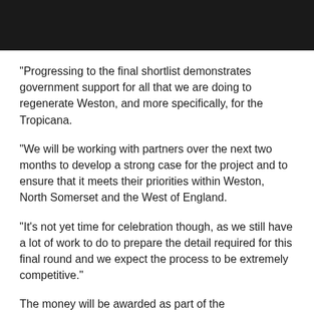[Figure (photo): Dark/black header image banner at the top of the page]
“Progressing to the final shortlist demonstrates government support for all that we are doing to regenerate Weston, and more specifically, for the Tropicana.
“We will be working with partners over the next two months to develop a strong case for the project and to ensure that it meets their priorities within Weston, North Somerset and the West of England.
“It’s not yet time for celebration though, as we still have a lot of work to do to prepare the detail required for this final round and we expect the process to be extremely competitive.”
The money will be awarded as part of the